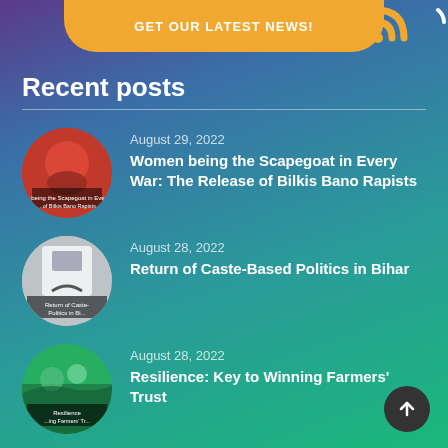GET OUR LATEST NEWS!
Recent posts
August 29, 2022
Women being the Scapegoat in Every War: The Release of Bilkis Bano Rapists
August 28, 2022
Return of Caste-Based Politics in Bihar
August 28, 2022
Resilience: Key to Winning Farmers' Trust